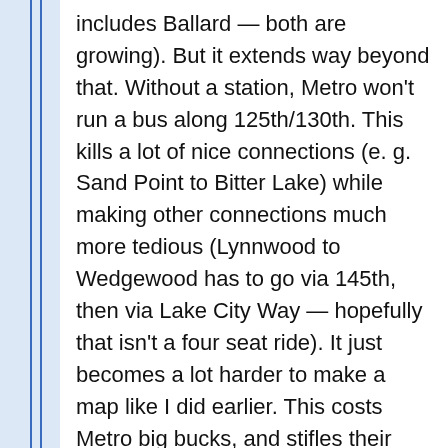includes Ballard — both are growing). But it extends way beyond that. Without a station, Metro won't run a bus along 125th/130th. This kills a lot of nice connections (e. g. Sand Point to Bitter Lake) while making other connections much more tedious (Lynnwood to Wedgewood has to go via 145th, then via Lake City Way — hopefully that isn't a four seat ride). It just becomes a lot harder to make a map like I did earlier. This costs Metro big bucks, and stifles their attempts to make a grid. Just look at the current plans and how much better they would be if the Northgate station was at Roosevelt and Northgate Way. There